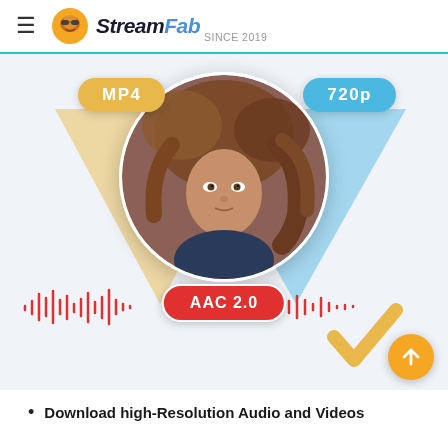StreamFab SINCE 2019
[Figure (illustration): StreamFab promotional graphic showing a circular photo of a woman with flowing hair, MP4 badge (yellow/gold), 720p badge (blue), AAC 2.0 badge (red), audio waveforms in red, a yellow checkmark, and an orange upload/scroll-to-top button. Yellow and blue triangles in the background.]
Download high-Resolution Audio and Videos